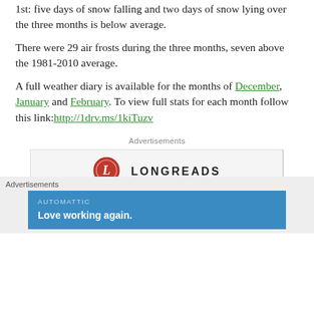1st: five days of snow falling and two days of snow lying over the three months is below average.
There were 29 air frosts during the three months, seven above the 1981-2010 average.
A full weather diary is available for the months of December, January and February. To view full stats for each month follow this link: http://1drv.ms/1kiTuzv
Advertisements
[Figure (illustration): Longreads advertisement banner with logo and tagline 'Bringing you the best stories on the web']
Advertisements
[Figure (illustration): Automattic advertisement: 'Love working again.']